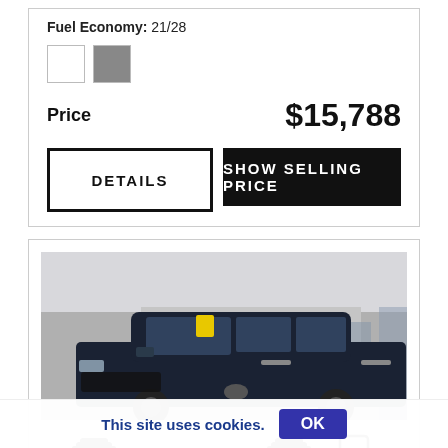Fuel Economy: 21/28
Price  $15,788
DETAILS
SHOW SELLING PRICE
[Figure (photo): A dark blue Kia Soul parked in front of a Frank Boucher dealership building. The dealership sign reading 'FRANK BOUCHER' is visible in red letters on the building wall. The vehicle has a yellow sticker on the windshield.]
This site uses cookies.
OK